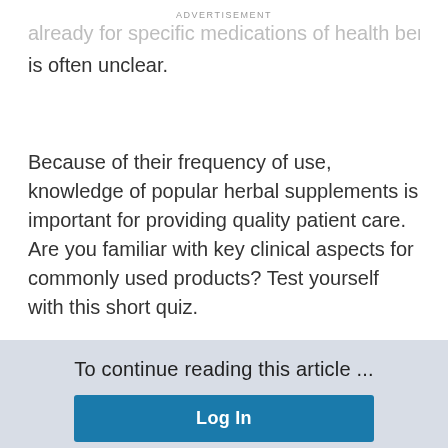ADVERTISEMENT
already for specific medications of health benefits is often unclear.
Because of their frequency of use, knowledge of popular herbal supplements is important for providing quality patient care. Are you familiar with key clinical aspects for commonly used products? Test yourself with this short quiz.
To continue reading this article ...
Log In
or
Register for Free